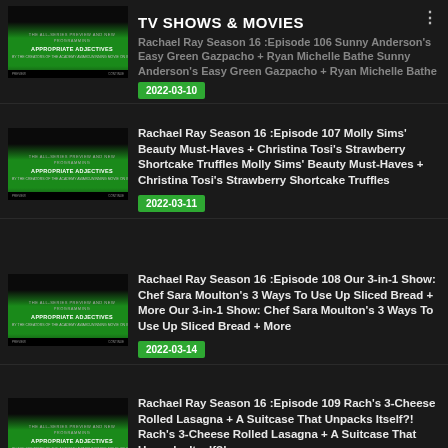TV SHOWS & MOVIES
Rachael Ray Season 16 :Episode 106 Sunny Anderson's Easy Green Gazpacho + Ryan Michelle Bathe Sunny Anderson's Easy Green Gazpacho + Ryan Michelle Bathe
Rachael Ray Season 16 :Episode 107 Molly Sims' Beauty Must-Haves + Christina Tosi's Strawberry Shortcake Truffles Molly Sims' Beauty Must-Haves + Christina Tosi's Strawberry Shortcake Truffles
Rachael Ray Season 16 :Episode 108 Our 3-in-1 Show: Chef Sara Moulton's 3 Ways To Use Up Sliced Bread + More Our 3-in-1 Show: Chef Sara Moulton's 3 Ways To Use Up Sliced Bread + More
Rachael Ray Season 16 :Episode 109 Rach's 3-Cheese Rolled Lasagna + A Suitcase That Unpacks Itself?! Rach's 3-Cheese Rolled Lasagna + A Suitcase That Unpacks Itself?!